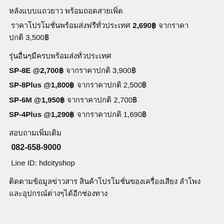หลังแบบแถวยาว พร้อมถอดสายเพิ่ด
ราคาโปรโมชั่นพร้อมส่งฟรีทั่วประเทศ 2,690฿ จากราคาปกติ 3,500฿
รุ่นอื่นๆมีครบพร้อมส่งทั่วประเทศ
SP-8E @2,700฿ จากราคาปกติ 3,900฿
SP-8Plus @1,800฿ จากราคาปกติ 2,500฿
SP-6M @1,950฿ จากราคาปกติ 2,700฿
SP-4Plus @1,290฿ จากราคาปกติ 1,690฿
สอบถามเพิ่มเติม
082-658-9000
Line ID: hdcityshop
ติดตามข้อมูลข่าวสาร สินค้าโปรโมชั่นของเครื่องเสียง ลำโพง และอุปกรณ์ต่างๆได้อีกช่องทาง